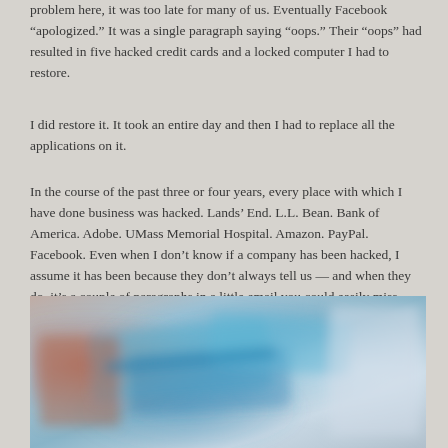problem here, it was too late for many of us. Eventually Facebook “apologized.” It was a single paragraph saying “oops.” Their “oops” had resulted in five hacked credit cards and a locked computer I had to restore.
I did restore it. It took an entire day and then I had to replace all the applications on it.
In the course of the past three or four years, every place with which I have done business was hacked. Lands’ End. L.L. Bean. Bank of America. Adobe. UMass Memorial Hospital. Amazon. PayPal. Facebook. Even when I don’t know if a company has been hacked, I assume it has been because they don’t always tell us — and when they do, it’s a couple of paragraphs in a little email you could easily miss — months or years after the hacking event.
[Figure (photo): A blurred close-up photograph showing what appears to be credit cards or similar objects with blue and reddish tones, out of focus.]